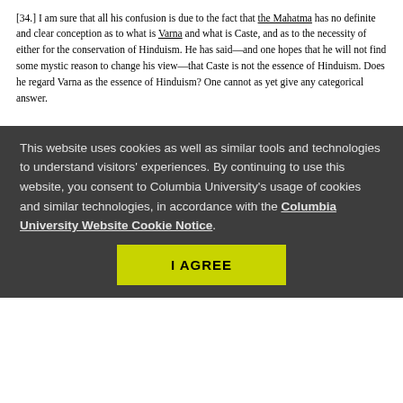[34.] I am sure that all his confusion is due to the fact that the Mahatma has no definite and clear conception as to what is Varna and what is Caste, and as to the necessity of either for the conservation of Hinduism. He has said—and one hopes that he will not find some mystic reason to change his view—that Caste is not the essence of Hinduism. Does he regard Varna as the essence of Hinduism? One cannot as yet give any categorical answer.
This website uses cookies as well as similar tools and technologies to understand visitors' experiences. By continuing to use this website, you consent to Columbia University's usage of cookies and similar technologies, in accordance with the Columbia University Website Cookie Notice.